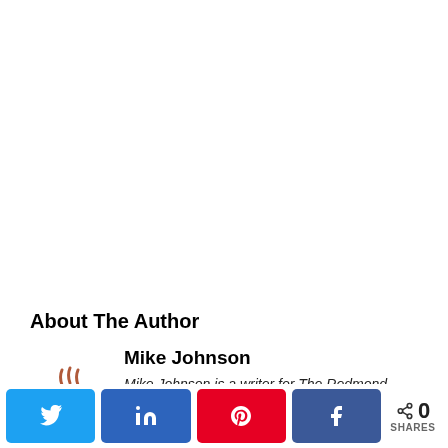About The Author
Mike Johnson
Mike Johnson is a writer for The Redmond Cloud, the most
[Figure (illustration): Hot coffee cup with steam illustration used as author avatar]
0 SHARES — social share bar with Twitter, LinkedIn, Pinterest, Facebook buttons